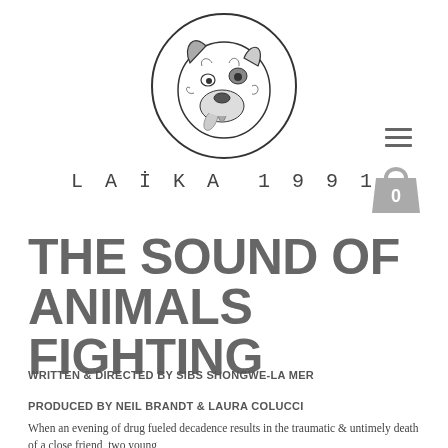[Figure (logo): Laika 1991 logo: illustration of a dog's head inside a circle, with text 'LAIKA 1991' below in spaced monospace lettering]
THE SOUND OF ANIMALS FIGHTING
WRITTEN & DIRECTED BY SIBS SHONGWE-LA MER
PRODUCED BY NEIL BRANDT & LAURA COLUCCI
When an evening of drug fueled decadence results in the traumatic & untimely death of a close friend, two young